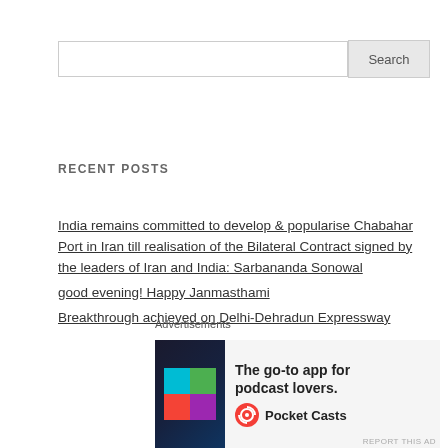[Search input field]
RECENT POSTS
India remains committed to develop & popularise Chabahar Port in Iran till realisation of the Bilateral Contract signed by the leaders of Iran and India: Sarbananda Sonowal
good evening! Happy Janmasthami
Breakthrough achieved on Delhi-Dehradun Expressway project
Dedication of Hooghly Cochin Shipyard Limited (HCSL) to the Nation
Container Production under Make In India to be facilitated  for  cargo transportation
Advertisements
[Figure (other): Pocket Casts advertisement banner: The go-to app for podcast lovers. Pocket Casts logo shown with colorful quadrant icon.]